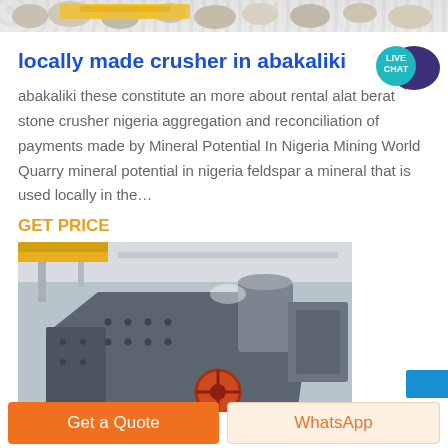[Figure (photo): Top strip showing aggregate stones/gravel with yellow element, partially visible]
locally made crusher in abakaliki
[Figure (infographic): Live Chat speech bubble icon in teal/dark blue]
abakaliki these constitute an more about rental alat berat stone crusher nigeria aggregation and reconciliation of payments made by Mineral Potential In Nigeria Mining World Quarry mineral potential in nigeria feldspar a mineral that is used locally in the…
GET PRICE
[Figure (photo): Industrial stone crusher machine in a factory setting, large grey metal equipment with orange wheel visible]
Get a Quote
WhatsApp